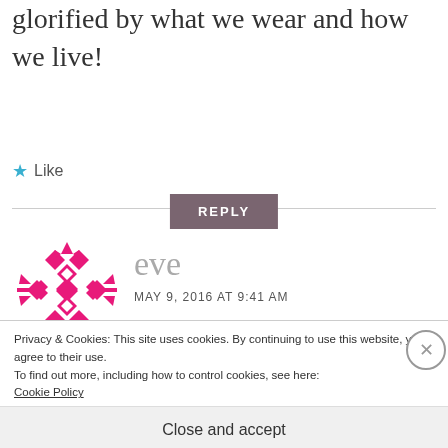glorified by what we wear and how we live!
Like
REPLY
[Figure (logo): Geometric pink/magenta diamond and arrow pattern avatar for user 'eve']
eve
MAY 9, 2016 AT 9:41 AM
that is good
Privacy & Cookies: This site uses cookies. By continuing to use this website, you agree to their use.
To find out more, including how to control cookies, see here:
Cookie Policy
Close and accept